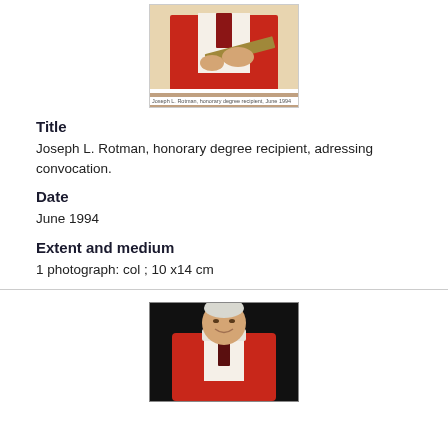[Figure (photo): Top portion: man in red academic regalia at convocation ceremony, holding a diploma or item, photographed from chest up.]
Title
Joseph L. Rotman, honorary degree recipient, adressing convocation.
Date
June 1994
Extent and medium
1 photograph: col ; 10 x14 cm
[Figure (photo): Second photo: man in red academic regalia standing against a dark background, smiling, older gentleman with white hair.]